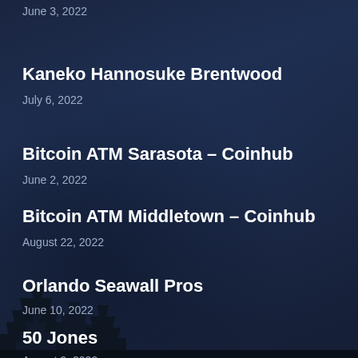June 3, 2022
Kaneko Hannosuke Brentwood
July 6, 2022
Bitcoin ATM Sarasota – Coinhub
June 2, 2022
Bitcoin ATM Middletown – Coinhub
August 22, 2022
Orlando Seawall Pros
June 10, 2022
50 Jones
August 9, 2022